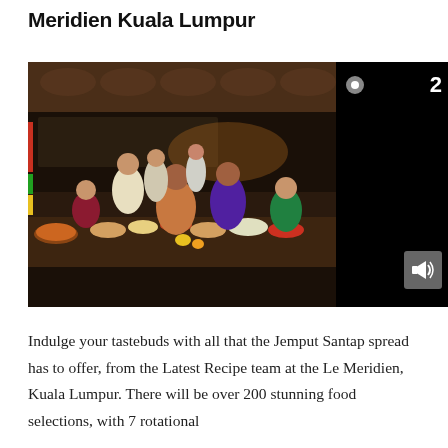Meridien Kuala Lumpur
[Figure (photo): Group of people seated at a long table filled with various Malaysian dishes at a restaurant buffet setting. Staff members stand behind them. A black video overlay panel with slide number 2 and volume icon appears on the right side of the image.]
Indulge your tastebuds with all that the Jemput Santap spread has to offer, from the Latest Recipe team at the Le Meridien, Kuala Lumpur. There will be over 200 stunning food selections, with 7 rotational